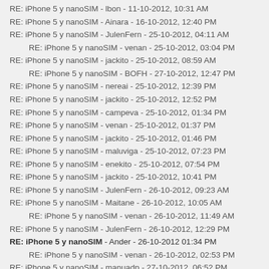RE: iPhone 5 y nanoSIM - lbon - 11-10-2012, 10:31 AM
RE: iPhone 5 y nanoSIM - Ainara - 16-10-2012, 12:40 PM
RE: iPhone 5 y nanoSIM - JulenFern - 25-10-2012, 04:11 AM
RE: iPhone 5 y nanoSIM - venan - 25-10-2012, 03:04 PM (indented)
RE: iPhone 5 y nanoSIM - jackito - 25-10-2012, 08:59 AM
RE: iPhone 5 y nanoSIM - BOFH - 27-10-2012, 12:47 PM (indented)
RE: iPhone 5 y nanoSIM - nereai - 25-10-2012, 12:39 PM
RE: iPhone 5 y nanoSIM - jackito - 25-10-2012, 12:52 PM
RE: iPhone 5 y nanoSIM - campeva - 25-10-2012, 01:34 PM
RE: iPhone 5 y nanoSIM - venan - 25-10-2012, 01:37 PM
RE: iPhone 5 y nanoSIM - jackito - 25-10-2012, 01:46 PM
RE: iPhone 5 y nanoSIM - maluviga - 25-10-2012, 07:23 PM
RE: iPhone 5 y nanoSIM - enekito - 25-10-2012, 07:54 PM
RE: iPhone 5 y nanoSIM - jackito - 25-10-2012, 10:41 PM
RE: iPhone 5 y nanoSIM - JulenFern - 26-10-2012, 09:23 AM
RE: iPhone 5 y nanoSIM - Maitane - 26-10-2012, 10:05 AM
RE: iPhone 5 y nanoSIM - venan - 26-10-2012, 11:49 AM (indented)
RE: iPhone 5 y nanoSIM - JulenFern - 26-10-2012, 12:29 PM
RE: iPhone 5 y nanoSIM - Ander - 26-10-2012 01:34 PM (bold)
RE: iPhone 5 y nanoSIM - venan - 26-10-2012, 02:53 PM (indented)
RE: iPhone 5 y nanoSIM - manuadp - 27-10-2012, 06:52 PM
RE: iPhone 5 y nanoSIM - jackito - 28-10-2012, 11:14 AM
RE: iPhone 5 y nanoSIM - lbon - 28-10-2012, 11:27 AM
RE: iPhone 5 y nanoSIM - ifa0781 - 29-10-2012, 02:12 PM
RE: iPhone 5 y nanoSIM - Ainara - 29-10-2012, 02:46 PM